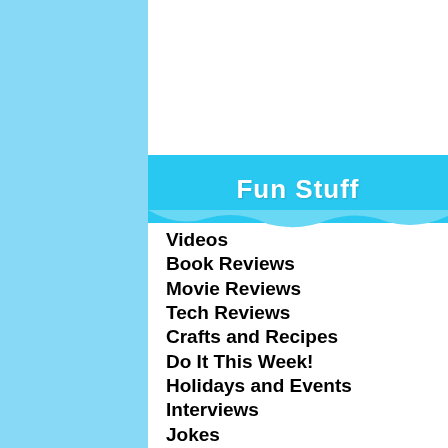Fun Stuff
Videos
Book Reviews
Movie Reviews
Tech Reviews
Crafts and Recipes
Do It This Week!
Holidays and Events
Interviews
Jokes
News